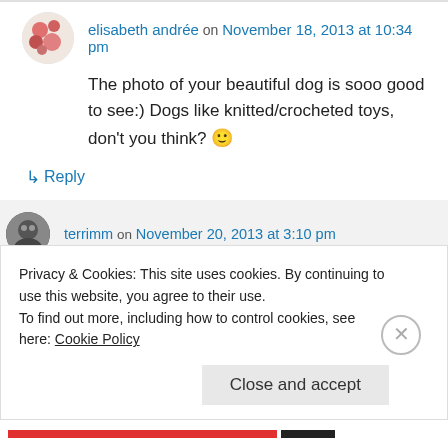elisabeth andrée on November 18, 2013 at 10:34 pm
The photo of your beautiful dog is sooo good to see:) Dogs like knitted/crocheted toys, don't you think? 🙂
↳ Reply
terrimm on November 20, 2013 at 3:10 pm
Privacy & Cookies: This site uses cookies. By continuing to use this website, you agree to their use.
To find out more, including how to control cookies, see here: Cookie Policy
Close and accept